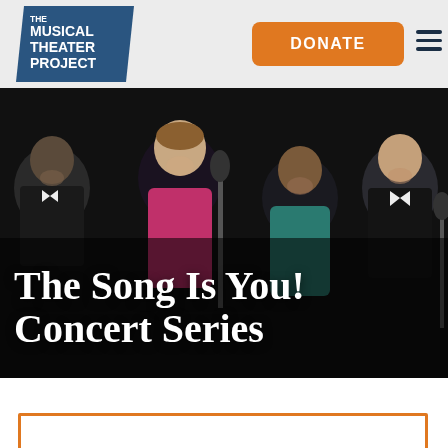[Figure (logo): The Musical Theater Project logo — white text on teal/dark blue parallelogram shape]
DONATE
[Figure (photo): Concert performers on stage — four people in formal attire, smiling, with microphones, dark stage background]
The Song Is You! Concert Series